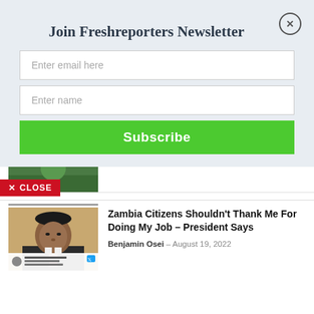Join Freshreporters Newsletter
Enter email here
Enter name
Subscribe
[Figure (photo): Partial image of person at top, cropped, showing green background]
[Figure (photo): Photo of a man in suit with pink tie, with a Twitter/X overlay at bottom showing a tweet from Hakainde Hichilema]
Zambia Citizens Shouldn't Thank Me For Doing My Job – President Says
Benjamin Osei – August 19, 2022
CLOSE